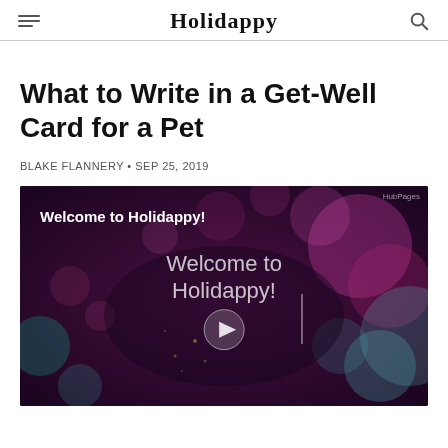Holidappy
What to Write in a Get-Well Card for a Pet
BLAKE FLANNERY • SEP 25, 2019
[Figure (screenshot): Video player thumbnail with dark bokeh background showing 'Welcome to Holidappy!' text and a play button in the center, with 'Welcome to Holidappy!' displayed prominently.]